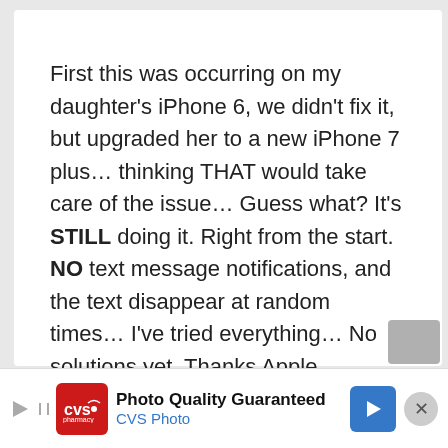First this was occurring on my daughter’s iPhone 6, we didn’t fix it, but upgraded her to a new iPhone 7 plus… thinking THAT would take care of the issue… Guess what? It’s STILL doing it. Right from the start. NO text message notifications, and the text disappear at random times… I’ve tried everything… No solutions yet. Thanks Apple.
Reply
[Figure (screenshot): CVS Pharmacy advertisement banner: Photo Quality Guaranteed, CVS Photo]